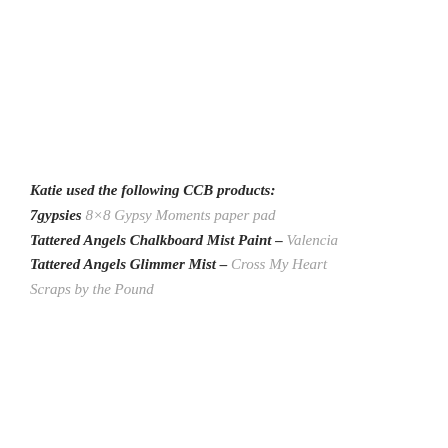Katie used the following CCB products:
7gypsies 8×8 Gypsy Moments paper pad
Tattered Angels Chalkboard Mist Paint – Valencia
Tattered Angels Glimmer Mist – Cross My Heart
Scraps by the Pound